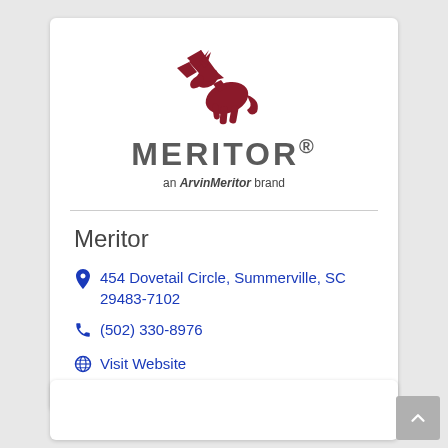[Figure (logo): Meritor logo with dark red pegasus icon above the wordmark MERITOR in bold gray letters, and tagline 'an ArvinMeritor brand' below]
Meritor
454 Dovetail Circle, Summerville, SC 29483-7102
(502) 330-8976
Visit Website